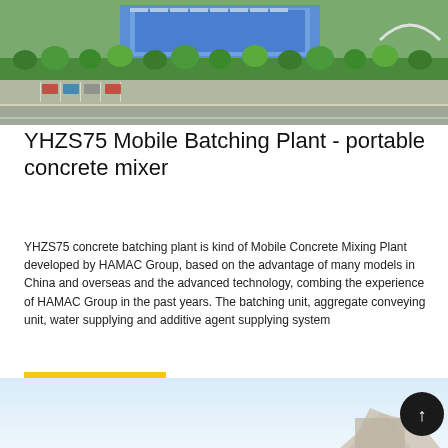[Figure (photo): Aerial view of a manufacturing facility or industrial complex with green trees, buildings, and a parking lot. The HAMAC Group factory or similar industrial site seen from above.]
YHZS75 Mobile Batching Plant - portable concrete mixer
YHZS75 concrete batching plant is kind of Mobile Concrete Mixing Plant developed by HAMAC Group, based on the advantage of many models in China and overseas and the advanced technology, combing the experience of HAMAC Group in the past years. The batching unit, aggregate conveying unit, water supplying and additive agent supplying system
[Figure (photo): Partial image of a concrete batching plant or mixer equipment on a light blue/white background, with a circular scroll-to-top button on the right.]